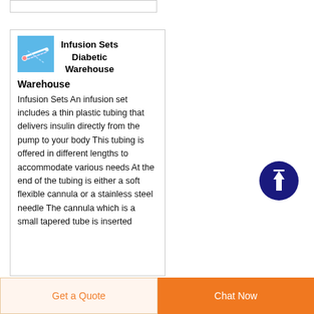[Figure (photo): Product card showing infusion sets with a small thumbnail image of medical tubing/infusion set on a blue background]
Infusion Sets Diabetic Warehouse
Infusion Sets An infusion set includes a thin plastic tubing that delivers insulin directly from the pump to your body This tubing is offered in different lengths to accommodate various needs At the end of the tubing is either a soft flexible cannula or a stainless steel needle The cannula which is a small tapered tube is inserted
[Figure (other): Dark blue circle with white upward arrow, scroll-to-top button]
Get a Quote
Chat Now